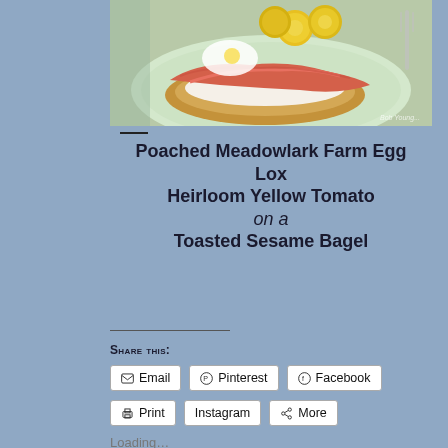[Figure (photo): Food photo showing a toasted sesame bagel topped with cream cheese, lox/smoked salmon, and sliced heirloom yellow tomatoes on a decorative plate]
Poached Meadowlark Farm Egg Lox Heirloom Yellow Tomato on a Toasted Sesame Bagel
Share this:
Email  Pinterest  Facebook  Print  Instagram  More
Loading...